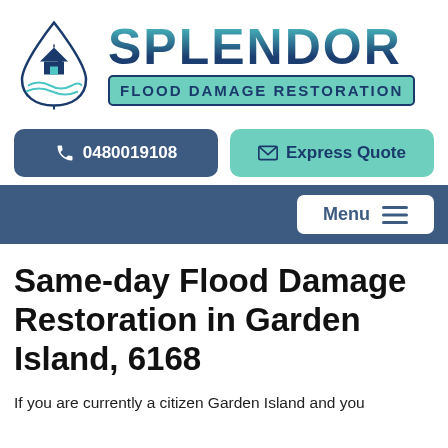[Figure (logo): Splendor Flood Damage Restoration logo with water drop icon containing a house, teal and dark blue color scheme]
0480019108
Express Quote
Menu
Same-day Flood Damage Restoration in Garden Island, 6168
If you are currently a citizen Garden Island and you